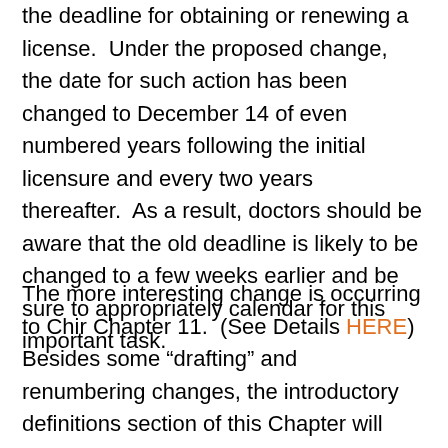the deadline for obtaining or renewing a license.  Under the proposed change, the date for such action has been changed to December 14 of even numbered years following the initial licensure and every two years thereafter.  As a result, doctors should be aware that the old deadline is likely to be changed to a few weeks earlier and be sure to appropriately calendar for this important task.
The more interesting change is occurring to Chir Chapter 11.  (See Details HERE) Besides some “drafting” and renumbering changes, the introductory definitions section of this Chapter will now define what constitutes a “new patient”.  Under